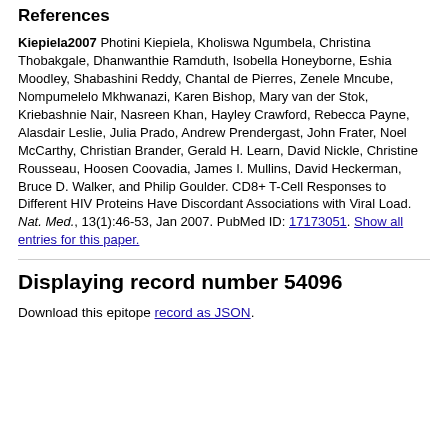References
Kiepiela2007 Photini Kiepiela, Kholiswa Ngumbela, Christina Thobakgale, Dhanwanthie Ramduth, Isobella Honeyborne, Eshia Moodley, Shabashini Reddy, Chantal de Pierres, Zenele Mncube, Nompumelelo Mkhwanazi, Karen Bishop, Mary van der Stok, Kriebashnie Nair, Nasreen Khan, Hayley Crawford, Rebecca Payne, Alasdair Leslie, Julia Prado, Andrew Prendergast, John Frater, Noel McCarthy, Christian Brander, Gerald H. Learn, David Nickle, Christine Rousseau, Hoosen Coovadia, James I. Mullins, David Heckerman, Bruce D. Walker, and Philip Goulder. CD8+ T-Cell Responses to Different HIV Proteins Have Discordant Associations with Viral Load. Nat. Med., 13(1):46-53, Jan 2007. PubMed ID: 17173051. Show all entries for this paper.
Displaying record number 54096
Download this epitope record as JSON.